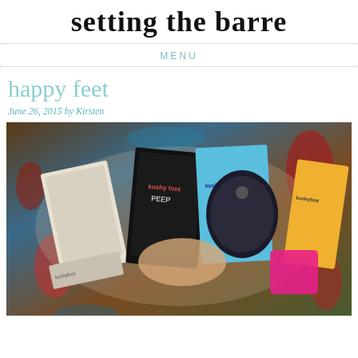setting the barre
MENU
happy feet
June 26, 2015 by Kirsten
[Figure (photo): Flat lay photo on a decorative rug showing multiple Kushyfoot product packages including hosiery, socks, and foot care items in various colors]